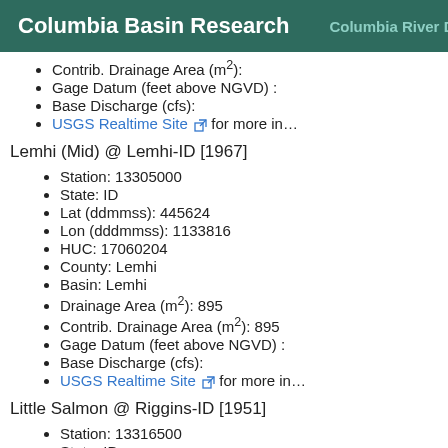Columbia Basin Research  Columbia River DART  S…
Contrib. Drainage Area (m²):
Gage Datum (feet above NGVD) :
Base Discharge (cfs):
USGS Realtime Site for more in…
Lemhi (Mid) @ Lemhi-ID [1967]
Station: 13305000
State: ID
Lat (ddmmss): 445624
Lon (dddmmss): 1133816
HUC: 17060204
County: Lemhi
Basin: Lemhi
Drainage Area (m²): 895
Contrib. Drainage Area (m²): 895
Gage Datum (feet above NGVD) :
Base Discharge (cfs):
USGS Realtime Site for more in…
Little Salmon @ Riggins-ID [1951]
Station: 13316500
State: ID